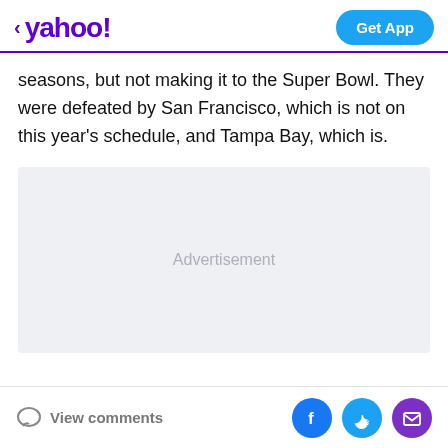< yahoo! | Get App
seasons, but not making it to the Super Bowl. They were defeated by San Francisco, which is not on this year's schedule, and Tampa Bay, which is.
[Figure (other): Advertisement placeholder box with light gray background and 'Advertisement' label in center]
View comments | Facebook share | Twitter share | Email share